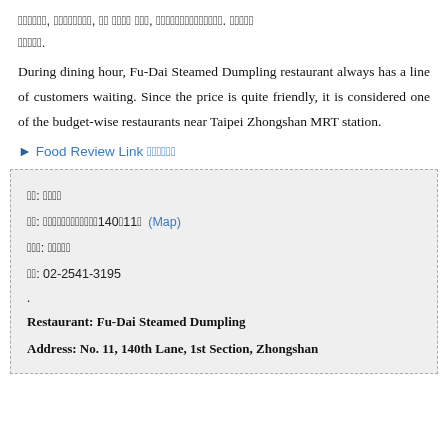餐廳名稱：富大蒸餃，用餐時間，和 朋友一起 用餐，店裡座位不多但服務人員十分親切。 排隊等候。
During dining hour, Fu-Dai Steamed Dumpling restaurant always has a line of customers waiting. Since the price is quite friendly, it is considered one of the budget-wise restaurants near Taipei Zhongshan MRT station.
▶ Food Review Link 美食評論
名稱: 富大蒸餃
地址: 台北市中山區中山北路一段140巷11號 (Map)
營業時間: 每天開放
電話: 02-2541-3195
.
Restaurant: Fu-Dai Steamed Dumpling
Address: No. 11, 140th Lane, 1st Section, Zhongshan